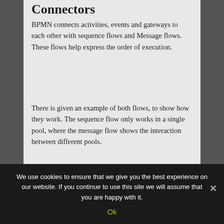Connectors
BPMN connects activities, events and gateways to each other with sequence flows and Message flows. These flows help express the order of execution.
There is given an example of both flows, to show how they work. The sequence flow only works in a single pool, where the message flow shows the interaction between different pools.
[Figure (schematic): BPMN diagram showing Sequence flow and Message flow connectors between pools, with labeled arrows and elements.]
We use cookies to ensure that we give you the best experience on our website. If you continue to use this site we will assume that you are happy with it.
Ok